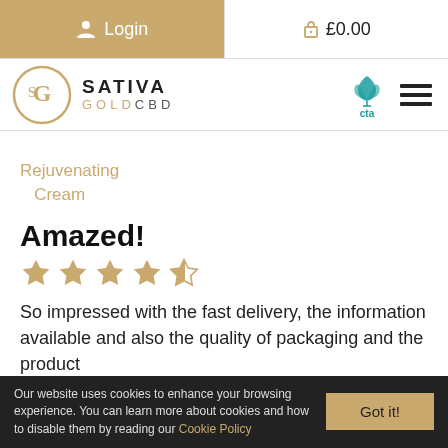Login  £0.00
[Figure (logo): Sativa Gold CBD logo with circular S-G monogram and text SATIVA GOLDCBD, plus a teal lotus/leaf CTA icon and hamburger menu icon]
Rejuvenating Cream
Amazed!
[Figure (other): 5 gold star rating icons (4 filled, 1 partially filled)]
So impressed with the fast delivery, the information available and also the quality of packaging and the product
Our website uses cookies to enhance your browsing experience. You can learn more about cookies and how to disable them by reading our Cookie Policy  Got it!